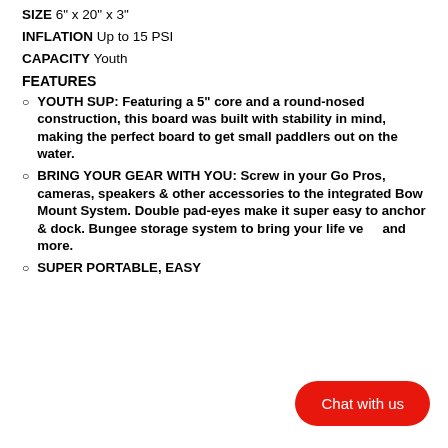SIZE 6" x 20" x 3"
INFLATION Up to 15 PSI
CAPACITY Youth
FEATURES
YOUTH SUP: Featuring a 5" core and a round-nosed construction, this board was built with stability in mind, making the perfect board to get small paddlers out on the water.
BRING YOUR GEAR WITH YOU: Screw in your Go Pros, cameras, speakers & other accessories to the integrated Bow Mount System. Double pad-eyes make it super easy to anchor & dock. Bungee storage system to bring your life ve[st] and more.
SUPER PORTABLE, EASY